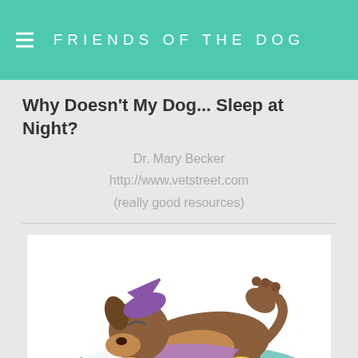FRIENDS OF THE DOG
Why Doesn't My Dog... Sleep at Night?
Dr. Mary Becker
http://www.vetstreet.com
(really good resources)
[Figure (illustration): Cartoon illustration of a dog lying on its back on a pet bed, sleeping with a purple blanket/pillow, with paws up in the air, looking comfortable and relaxed.]